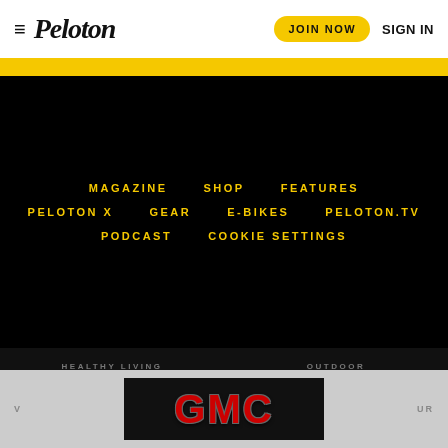☰ Peloton   JOIN NOW   SIGN IN
MAGAZINE
SHOP
FEATURES
PELOTON X
GEAR
E-BIKES
PELOTON.TV
PODCAST
COOKIE SETTINGS
HEALTHY LIVING
OUTDOOR
CLEAN EATING
BACKPACKER
OXYGEN
CLIMBING
[Figure (logo): GMC logo advertisement banner in red text on black background]